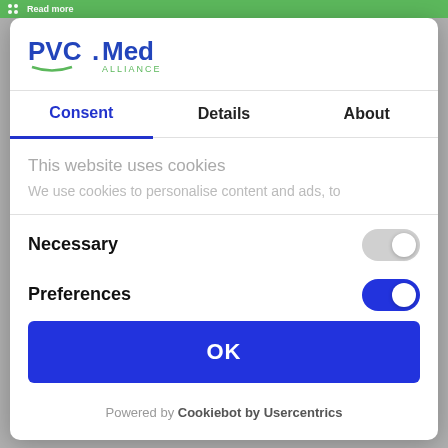[Figure (screenshot): Green top bar with dots icon and 'Read more' text]
[Figure (logo): PVC Med Alliance logo with blue text and green leaf accent]
Consent	Details	About
This website uses cookies
We use cookies to personalise content and ads, to
Necessary
Preferences
OK
Powered by Cookiebot by Usercentrics